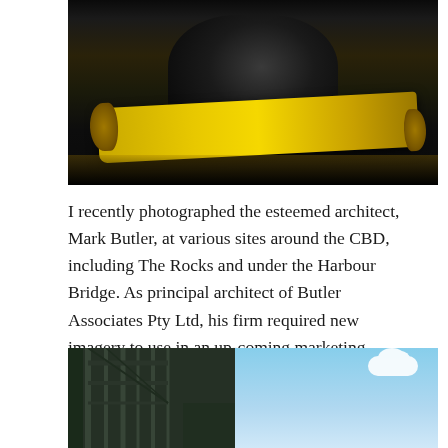[Figure (photo): Portrait photo of architect Mark Butler seated at a dark table with yellow rolled blueprints/drawings, wearing dark clothing, against a black background with dramatic lighting]
I recently photographed the esteemed architect, Mark Butler, at various sites around the CBD, including The Rocks and under the Harbour Bridge. As principal architect of Butler Associates Pty Ltd, his firm required new imagery to use in an up-coming marketing campaign for projects overseas.
[Figure (photo): Photo of architect Mark Butler at the Harbour Bridge location, with green foliage on left, bridge steel structure visible, blue sky with white clouds on the right]